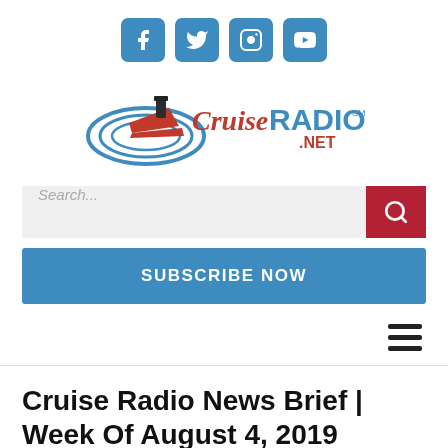[Figure (logo): Social media icons: Facebook, Twitter, Instagram, YouTube — blue rounded square buttons]
[Figure (logo): Cruise Radio .NET logo with cruise ship graphic, 'Cruise' in red cursive, 'RADIO' in blue bold, '.NET' in red]
[Figure (screenshot): Search bar with 'Search...' placeholder text and red search button with magnifying glass icon]
[Figure (screenshot): Blue 'SUBSCRIBE NOW' button]
[Figure (infographic): Hamburger menu icon (three horizontal lines)]
Cruise Radio News Brief | Week Of August 4, 2019